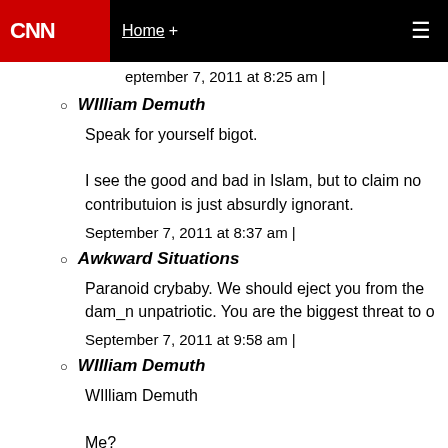CNN | Home +
September 7, 2011 at 8:25 am |
WIlliam Demuth
Speak for yourself bigot.

I see the good and bad in Islam, but to claim no contributuion is just absurdly ignorant.
September 7, 2011 at 8:37 am |
Awkward Situations
Paranoid crybaby. We should eject you from the dam_n unpatriotic. You are the biggest threat to o
September 7, 2011 at 9:58 am |
WIlliam Demuth
WIlliam Demuth

Me?